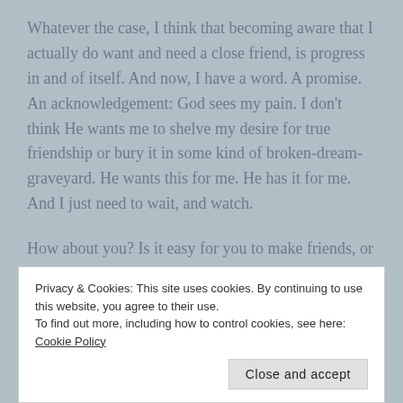Whatever the case, I think that becoming aware that I actually do want and need a close friend, is progress in and of itself.  And now, I have a word.  A promise.  An acknowledgement: God sees my pain.  I don't think He wants me to shelve my desire for true friendship or bury it in some kind of broken-dream-graveyard.  He wants this for me.  He has it for me.  And I just need to wait, and watch.
How about you?  Is it easy for you to make friends, or difficult?  Have you ever had a best friend?  I would love to hear about it in the comments section below.
Privacy & Cookies: This site uses cookies. By continuing to use this website, you agree to their use.
To find out more, including how to control cookies, see here: Cookie Policy